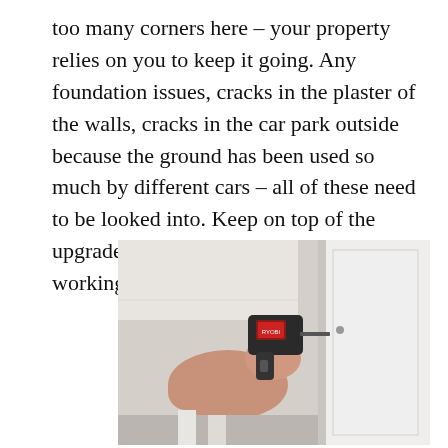too many corners here – your property relies on you to keep it going. Any foundation issues, cracks in the plaster of the walls, cracks in the car park outside because the ground has been used so much by different cars – all of these need to be looked into. Keep on top of the upgrades, and you create a comfortable working environment for all.
[Figure (photo): A person holding a power drill up toward a ceiling or wall corner, with white cabinetry or walls visible in the background.]